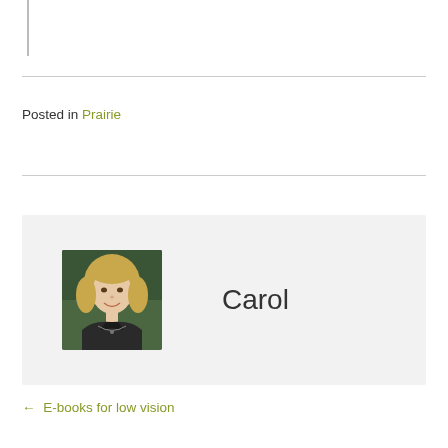Posted in Prairie
[Figure (photo): Headshot photo of Carol, a woman with shoulder-length blonde hair wearing a dark jacket and necklace, with a green leafy background]
Carol
← E-books for low vision